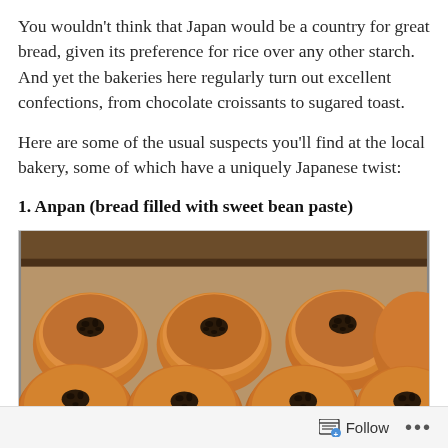You wouldn’t think that Japan would be a country for great bread, given its preference for rice over any other starch. And yet the bakeries here regularly turn out excellent confections, from chocolate croissants to sugared toast.
Here are some of the usual suspects you’ll find at the local bakery, some of which have a uniquely Japanese twist:
1. Anpan (bread filled with sweet bean paste)
[Figure (photo): A tray of round golden-brown anpan buns, each topped with black sesame seeds, arranged in rows.]
Follow ...